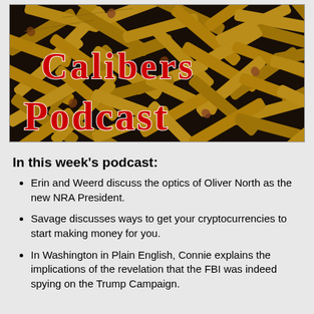[Figure (illustration): Calibers Podcast logo: background of many golden bullet cartridges/ammunition, with red outlined text 'Calibers' on top line and 'Podcast' on bottom line in a western-style serif font with white outline.]
In this week's podcast:
Erin and Weerd discuss the optics of Oliver North as the new NRA President.
Savage discusses ways to get your cryptocurrencies to start making money for you.
In Washington in Plain English, Connie explains the implications of the revelation that the FBI was indeed spying on the Trump Campaign.